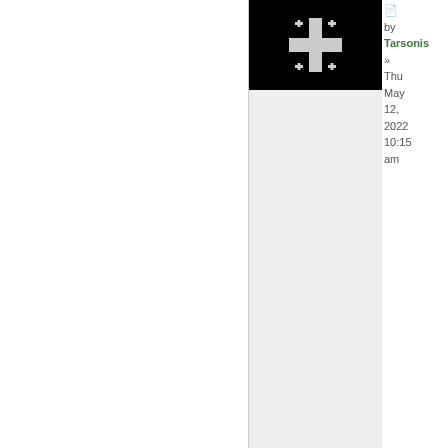[Figure (illustration): Black background avatar image with a white Jerusalem cross (cross with four smaller crosses at corners)]
Tarsonis
Postmaster of the Fleet

Posts: 23356
Founded: Sep 20, 2017
Democratic Socialists
by Tarsonis » Thu May 12, 2022 10:15 am